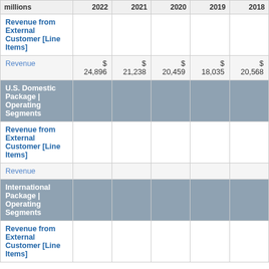| millions | 2022 | 2021 | 2020 | 2019 | 2018 |
| --- | --- | --- | --- | --- | --- |
| Revenue from External Customer [Line Items] |  |  |  |  |  |
| Revenue | $ 24,896 | $ 21,238 | $ 20,459 | $ 18,035 | $ 20,568 |
| U.S. Domestic Package | Operating Segments |  |  |  |  |  |
| Revenue from External Customer [Line Items] |  |  |  |  |  |
| Revenue |  |  |  |  |  |
| International Package | Operating Segments |  |  |  |  |  |
| Revenue from External Customer [Line Items] |  |  |  |  |  |